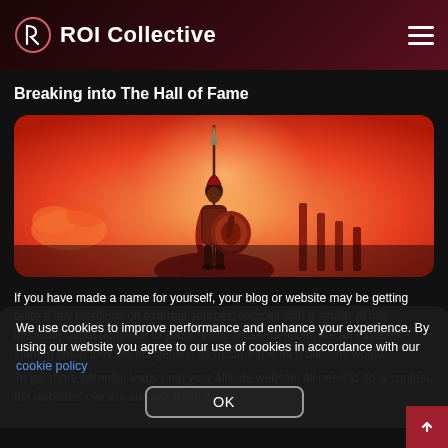ROI Collective
Breaking into The Hall of Fame
[Figure (illustration): Illustration of a Spartan warrior in red/orange tones holding a spear and shield, standing on a rock against a warm sunset background with rounded rectangle frame.]
If you have made a name for yourself, your blog or website may be getting quite a few mentions on external sources' sources with a similar (if not identical) target audience to yours. While those mentions are an excellent starting point, they will not get you as much traffic as a backlink would.
To get more potential leads onto your affiliate website, all need to do is contact the websites' owners and ask them to use
We use cookies to improve performance and enhance your experience. By using our website you agree to our use of cookies in accordance with our cookie policy
OK